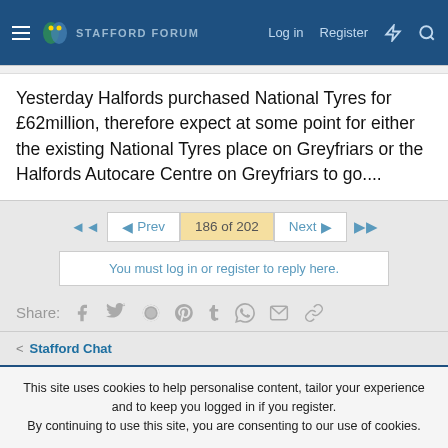Stafford Forum — Log in | Register
Yesterday Halfords purchased National Tyres for £62million, therefore expect at some point for either the existing National Tyres place on Greyfriars or the Halfords Autocare Centre on Greyfriars to go....
◄◄  ◄ Prev  186 of 202  Next ►  ►►
You must log in or register to reply here.
Share: Facebook Twitter Reddit Pinterest Tumblr WhatsApp Email Link
< Stafford Chat
This site uses cookies to help personalise content, tailor your experience and to keep you logged in if you register.
By continuing to use this site, you are consenting to our use of cookies.
✓ Accept   Learn more...